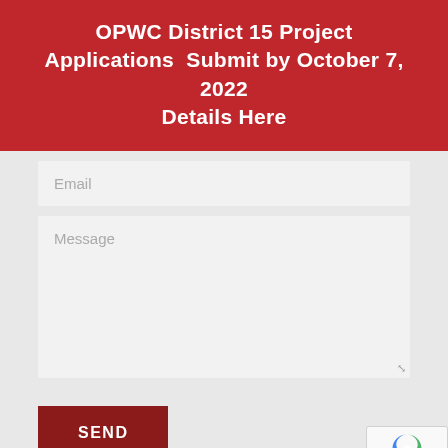OPWC District 15 Project Applications  Submit by October 7, 2022 Details Here
Email
Message
SEND
Appalachian Regional Commission
[Figure (other): reCAPTCHA widget showing the reCAPTCHA logo and Privacy - Terms links]